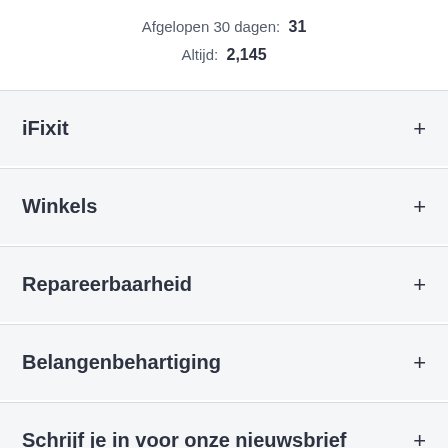Afgelopen 30 dagen: 31
Altijd: 2,145
iFixit +
Winkels +
Repareerbaarheid +
Belangenbehartiging +
Schrijf je in voor onze nieuwsbrief +